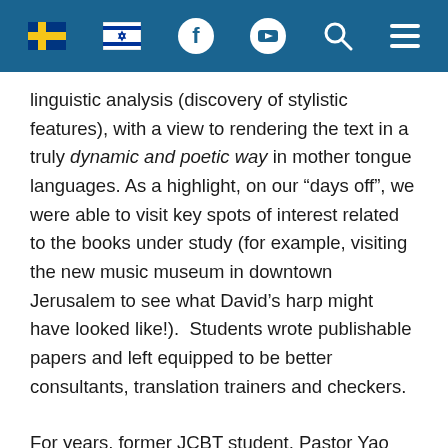[Navigation bar with Finland flag, Israel flag, Facebook, YouTube, Search, and Menu icons]
linguistic analysis (discovery of stylistic features), with a view to rendering the text in a truly dynamic and poetic way in mother tongue languages. As a highlight, on our “days off”, we were able to visit key spots of interest related to the books under study (for example, visiting the new music museum in downtown Jerusalem to see what David’s harp might have looked like!). Students wrote publishable papers and left equipped to be better consultants, translation trainers and checkers.
For years, former JCBT student, Pastor Yao Serge from Côte d’Ivoire, has been hounding us for a similar course to meet the needs of francophone personnel, especially in Africa. This year we are happy to announce, not a one-,